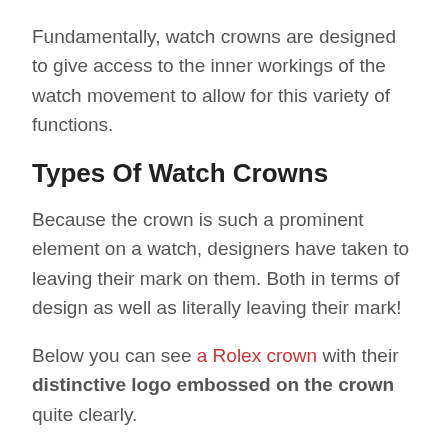Fundamentally, watch crowns are designed to give access to the inner workings of the watch movement to allow for this variety of functions.
Types Of Watch Crowns
Because the crown is such a prominent element on a watch, designers have taken to leaving their mark on them. Both in terms of design as well as literally leaving their mark!
Below you can see a Rolex crown with their distinctive logo embossed on the crown quite clearly.